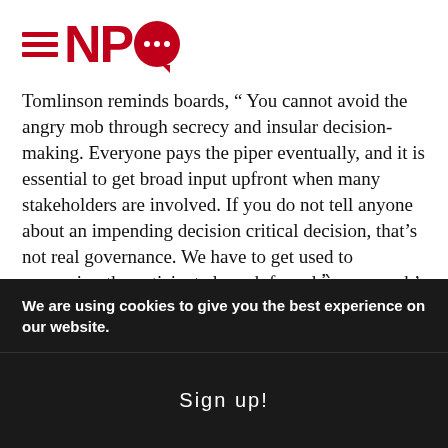[Figure (logo): NPQ logo with red hamburger menu lines, red NPQ text, and red speech bubble with white dots]
Tomlinson reminds boards, " You cannot avoid the angry mob through secrecy and insular decision-making. Everyone pays the piper eventually, and it is essential to get broad input upfront when many stakeholders are involved. If you do not tell anyone about an impending decision critical decision, that's not real governance. We have to get used to convening the anticipated much feared 'angry mob' and dealing with their concerns. It is, after all, called 'governance' and not 'dictates.'"
NPQ has written repeatedly about the changing
We are using cookies to give you the best experience on our website.
Sign up!